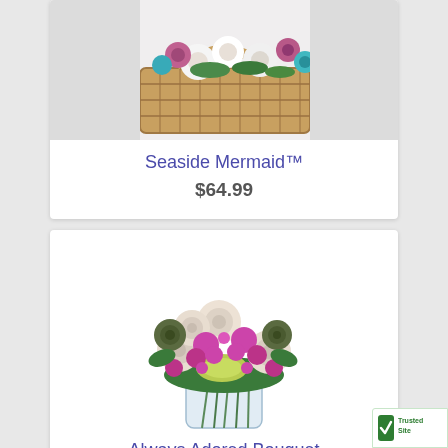[Figure (photo): Flower arrangement in a wicker basket with pink, white, and teal flowers — Seaside Mermaid product photo (cropped, top portion visible)]
Seaside Mermaid™
$64.99
[Figure (photo): Always Adored Bouquet — arrangement of cream roses, purple/magenta clusters, yellow-green flowers, and succulents in a clear glass cylinder vase]
Always Adored Bouquet
$74.99
[Figure (logo): TrustedSite badge in green and white, bottom-right corner]